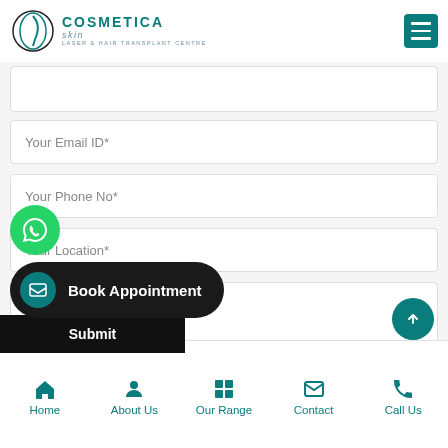[Figure (logo): Cosmetica Skin Laser & Hair Transplant Centre logo with circular graphic and teal text]
Your Email ID*
Your Phone No*
Your Location*
ur Message*
[Figure (screenshot): Book Appointment button overlay with WhatsApp icon, email icon, and dark pill-shaped button]
Submit
Home  About Us  Our Range  Contact  Call Us